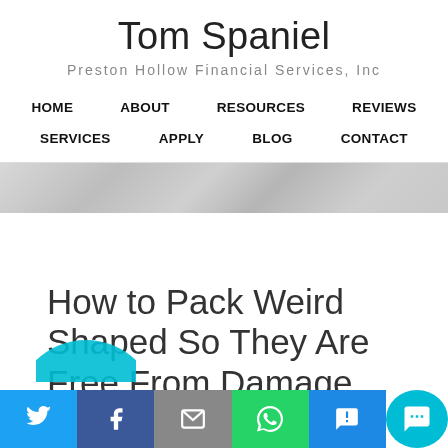Tom Spaniel
Preston Hollow Financial Services, Inc
HOME  ABOUT  RESOURCES  REVIEWS  SERVICES  APPLY  BLOG  CONTACT
How to Pack Weird Shaped So They Are Free From Damage